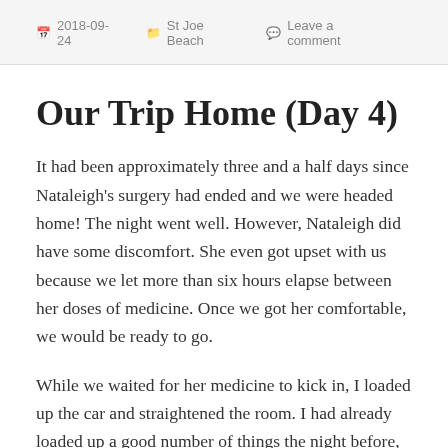2018-09-24   St Joe Beach   Leave a comment
Our Trip Home (Day 4)
It had been approximately three and a half days since Nataleigh's surgery had ended and we were headed home! The night went well. However, Nataleigh did have some discomfort. She even got upset with us because we let more than six hours elapse between her doses of medicine. Once we got her comfortable, we would be ready to go.
While we waited for her medicine to kick in, I loaded up the car and straightened the room. I had already loaded up a good number of things the night before, but of course there were still things we